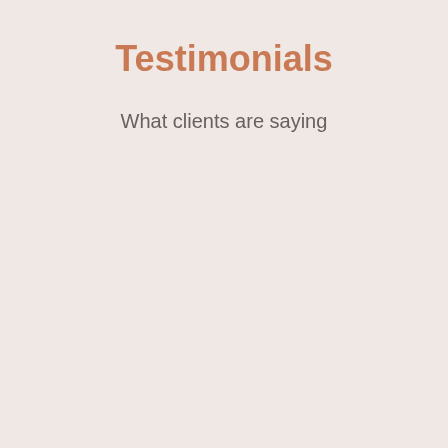Testimonials
What clients are saying